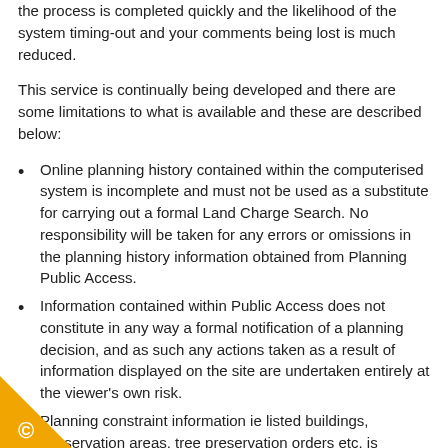the process is completed quickly and the likelihood of the system timing-out and your comments being lost is much reduced.
This service is continually being developed and there are some limitations to what is available and these are described below:
Online planning history contained within the computerised system is incomplete and must not be used as a substitute for carrying out a formal Land Charge Search. No responsibility will be taken for any errors or omissions in the planning history information obtained from Planning Public Access.
Information contained within Public Access does not constitute in any way a formal notification of a planning decision, and as such any actions taken as a result of information displayed on the site are undertaken entirely at the viewer's own risk.
Planning constraint information ie listed buildings, conservation areas, tree preservation orders etc. is available via Public Access for Planning but cannot be considered definitive at the present. Where accuracy is